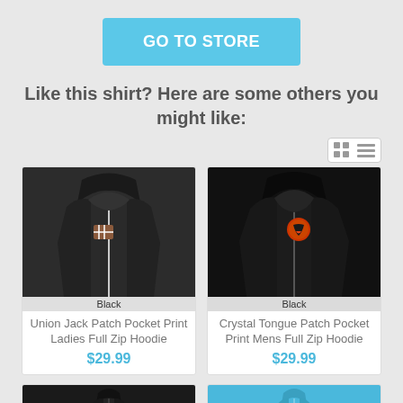GO TO STORE
Like this shirt? Here are some others you might like:
[Figure (photo): Black Union Jack Patch Pocket Print Ladies Full Zip Hoodie product photo with Black color label]
Union Jack Patch Pocket Print Ladies Full Zip Hoodie
$29.99
[Figure (photo): Black Crystal Tongue Patch Pocket Print Mens Full Zip Hoodie product photo with Black color label]
Crystal Tongue Patch Pocket Print Mens Full Zip Hoodie
$29.99
[Figure (photo): Partial view of two additional hoodie product cards at the bottom of the page]